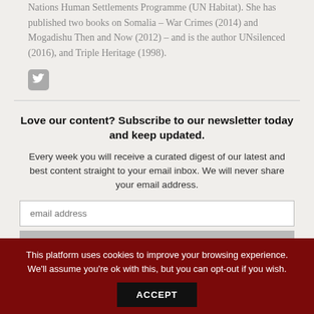Nations Human Settlements Programme (UN Habitat). She has published two books on Somalia – War Crimes (2014) and Mogadishu Then and Now (2012) – and is the author UNsilenced (2016), and Triple Heritage (1998).
[Figure (logo): Twitter bird icon in a rounded gray square]
Love our content? Subscribe to our newsletter today and keep updated.
Every week you will receive a curated digest of our latest and best content straight to your email inbox. We will never share your email address.
email address
Subscribe
This platform uses cookies to improve your browsing experience. We'll assume you're ok with this, but you can opt-out if you wish.
ACCEPT